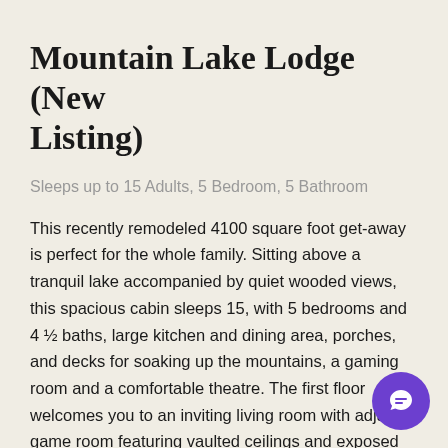Mountain Lake Lodge (New Listing)
Sleeps up to 15 Adults, 5 Bedroom, 5 Bathroom
This recently remodeled 4100 square foot get-away is perfect for the whole family. Sitting above a tranquil lake accompanied by quiet wooded views, this spacious cabin sleeps 15, with 5 bedrooms and 4 ½ baths, large kitchen and dining area, porches, and decks for soaking up the mountains, a gaming room and a comfortable theatre. The first floor welcomes you to an inviting living room with adjacent game room featuring vaulted ceilings and exposed beams. The floor to ceiling windows allows for a tranquil view of the woods. With a fireplace, large tv, both a pool table and foosball table this is the hub of indoor activity. The kitchen and dining are large and roomy with a beautiful mountain log table and benches, and plenty of counter